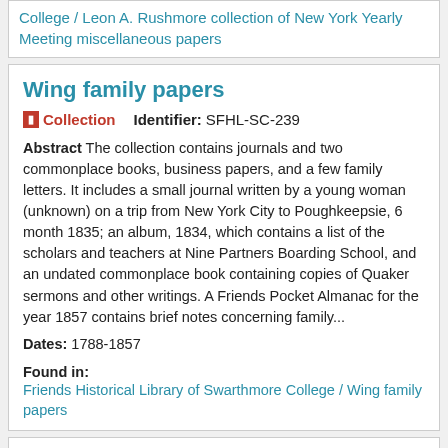College / Leon A. Rushmore collection of New York Yearly Meeting miscellaneous papers
Wing family papers
Collection  Identifier: SFHL-SC-239
Abstract The collection contains journals and two commonplace books, business papers, and a few family letters. It includes a small journal written by a young woman (unknown) on a trip from New York City to Poughkeepsie, 6 month 1835; an album, 1834, which contains a list of the scholars and teachers at Nine Partners Boarding School, and an undated commonplace book containing copies of Quaker sermons and other writings. A Friends Pocket Almanac for the year 1857 contains brief notes concerning family...
Dates: 1788-1857
Found in: Friends Historical Library of Swarthmore College / Wing family papers